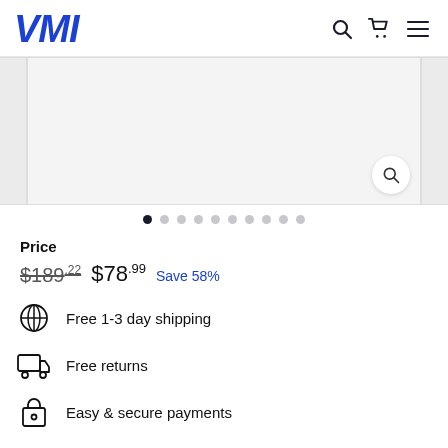VMI
[Figure (screenshot): Product image carousel placeholder with zoom icon and navigation dots. Main image area is light grey. Side panels are slightly darker grey. A circular zoom/search button is in the bottom-right corner.]
Price
$189.22  $78.99  Save 58%
Free 1-3 day shipping
Free returns
Easy & secure payments